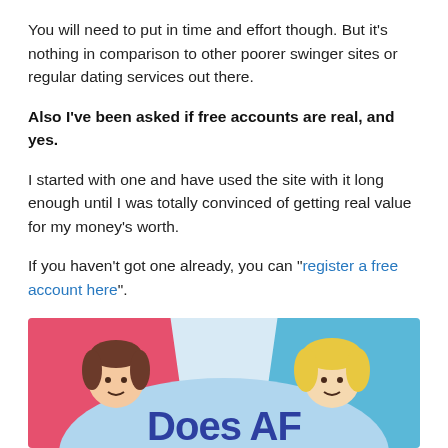You will need to put in time and effort though. But it's nothing in comparison to other poorer swinger sites or regular dating services out there.
Also I've been asked if free accounts are real, and yes.
I started with one and have used the site with it long enough until I was totally convinced of getting real value for my money's worth.
If you haven't got one already, you can "register a free account here".
[Figure (illustration): Partial illustration showing two cartoon characters (a brunette woman on the left against a pink/red card background, and a blonde person on the right against a teal/blue card background) with 'Does AF' text visible in blue at the bottom center on a light blue background.]